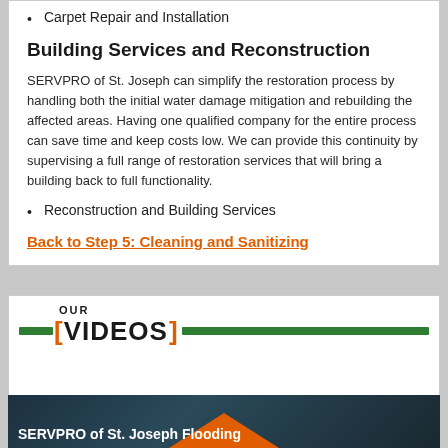Carpet Repair and Installation
Building Services and Reconstruction
SERVPRO of St. Joseph can simplify the restoration process by handling both the initial water damage mitigation and rebuilding the affected areas. Having one qualified company for the entire process can save time and keep costs low. We can provide this continuity by supervising a full range of restoration services that will bring a building back to full functionality.
Reconstruction and Building Services
Back to Step 5: Cleaning and Sanitizing
[Figure (infographic): OUR VIDEOS banner with green horizontal bar and orange bracket styling]
[Figure (screenshot): SERVPRO of St. Joseph Flooding video thumbnail with dark background and orange chevron]